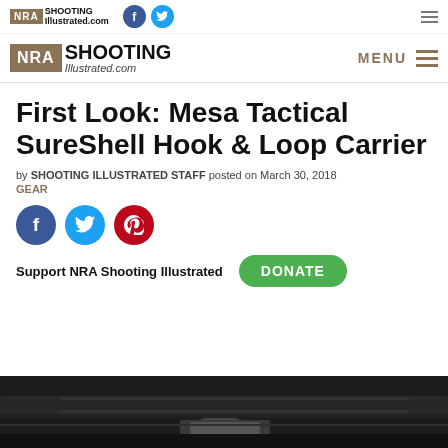NRA Shooting Illustrated.com
NRA Shooting Illustrated.com — MENU
First Look: Mesa Tactical SureShell Hook & Loop Carrier
by SHOOTING ILLUSTRATED STAFF posted on March 30, 2018
GEAR
[Figure (other): Social share buttons: Facebook, Twitter, Pinterest]
Support NRA Shooting Illustrated  DONATE
[Figure (photo): Black and white photo showing a shotgun with a shell carrier attached]